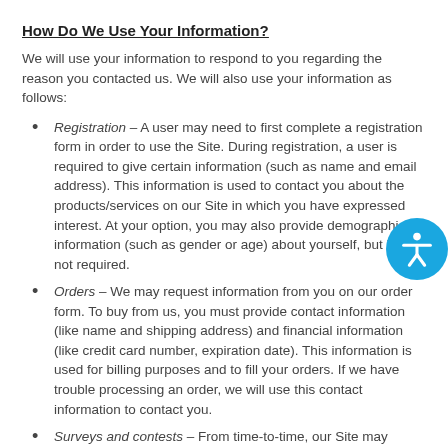How Do We Use Your Information?
We will use your information to respond to you regarding the reason you contacted us. We will also use your information as follows:
Registration – A user may need to first complete a registration form in order to use the Site. During registration, a user is required to give certain information (such as name and email address). This information is used to contact you about the products/services on our Site in which you have expressed interest. At your option, you may also provide demographic information (such as gender or age) about yourself, but it is not required.
Orders – We may request information from you on our order form. To buy from us, you must provide contact information (like name and shipping address) and financial information (like credit card number, expiration date). This information is used for billing purposes and to fill your orders. If we have trouble processing an order, we will use this contact information to contact you.
Surveys and contests – From time-to-time, our Site may